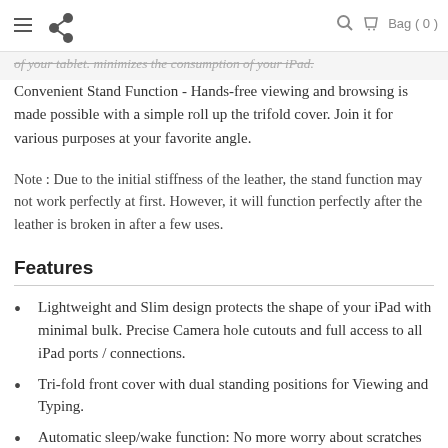Navigation bar with hamburger menu, logo, search, bag (0)
of your tablet. minimizes the consumption of your iPad.
Convenient Stand Function - Hands-free viewing and browsing is made possible with a simple roll up the trifold cover. Join it for various purposes at your favorite angle.
Note : Due to the initial stiffness of the leather, the stand function may not work perfectly at first. However, it will function perfectly after the leather is broken in after a few uses.
Features
Lightweight and Slim design protects the shape of your iPad with minimal bulk. Precise Camera hole cutouts and full access to all iPad ports / connections.
Tri-fold front cover with dual standing positions for Viewing and Typing.
Automatic sleep/wake function: No more worry about scratches on the iPad screen or wake up of your iPad.
Made of durable polyurethane exterior. Anti-Slip & soft